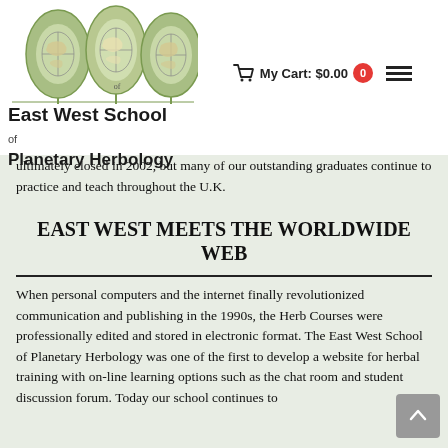[Figure (logo): East West School of Planetary Herbology logo — three leaf shapes in olive green containing globe/earth illustrations]
East West School of Planetary Herbology
My Cart: $0.00  0
ultimately closed in 2002, but many of our outstanding graduates continue to practice and teach throughout the U.K.
EAST WEST MEETS THE WORLDWIDE WEB
When personal computers and the internet finally revolutionized communication and publishing in the 1990s, the Herb Courses were professionally edited and stored in electronic format. The East West School of Planetary Herbology was one of the first to develop a website for herbal training with on-line learning options such as the chat room and student discussion forum. Today our school continues to